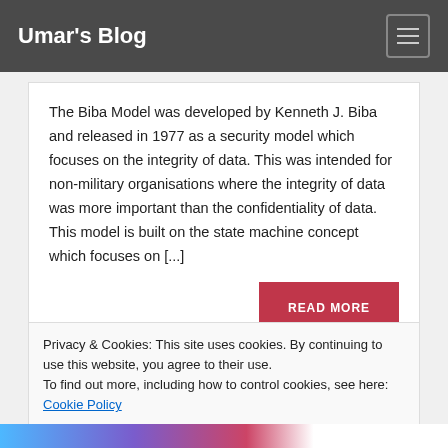Umar's Blog
The Biba Model was developed by Kenneth J. Biba and released in 1977 as a security model which focuses on the integrity of data. This was intended for non-military organisations where the integrity of data was more important than the confidentiality of data. This model is built on the state machine concept which focuses on [...]
READ MORE
Privacy & Cookies: This site uses cookies. By continuing to use this website, you agree to their use.
To find out more, including how to control cookies, see here: Cookie Policy
Close and accept